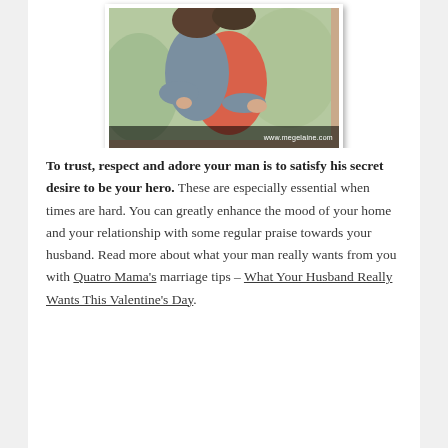[Figure (photo): A couple embracing outdoors. A person in a gray long-sleeve top hugging someone in a coral/orange top. Watermark www.megelaine.com at the bottom.]
To trust, respect and adore your man is to satisfy his secret desire to be your hero. These are especially essential when times are hard. You can greatly enhance the mood of your home and your relationship with some regular praise towards your husband. Read more about what your man really wants from you with Quatro Mama's marriage tips – What Your Husband Really Wants This Valentine's Day.